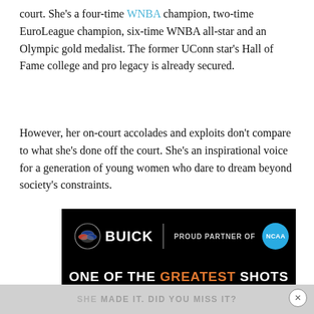court. She's a four-time WNBA champion, two-time EuroLeague champion, six-time WNBA all-star and an Olympic gold medalist. The former UConn star's Hall of Fame college and pro legacy is already secured.
However, her on-court accolades and exploits don't compare to what she's done off the court. She's an inspirational voice for a generation of young women who dare to dream beyond society's constraints.
[Figure (illustration): Buick advertisement on black background. Top row: Buick logo with tri-shield emblem, vertical divider, text 'PROUD PARTNER OF', NCAA blue circular badge. Main text: 'ONE OF THE GREATEST SHOTS IN NCAA® HISTORY' with GREATEST in orange.]
SHE MADE IT. DID YOU MISS IT?